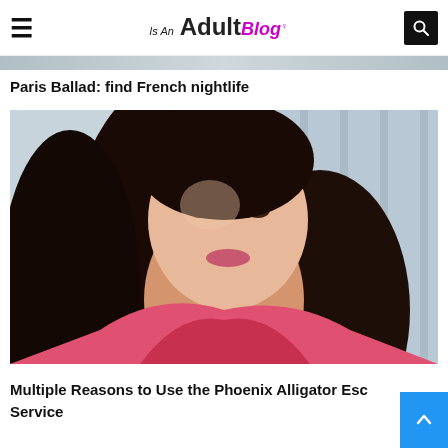Is An Adult Blog
[Figure (photo): Cropped top strip of a blog article image, partially visible]
Paris Ballad: find French nightlife
[Figure (photo): Photo of a young woman with dark curly hair wearing a pink top, selfie style]
Multiple Reasons to Use the Phoenix Alligator Escort Service